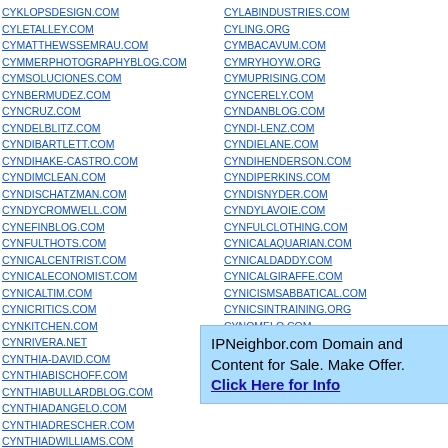CYKLOPSDESIGN.COM
CYLETALLEY.COM
CYMATTHEWSSEMRAU.COM
CYMMERPHOTOGRAPHYBLOG.COM
CYMSOLUCIONES.COM
CYNBERMUDEZ.COM
CYNCRUZ.COM
CYNDELBLITZ.COM
CYNDIBARTLETT.COM
CYNDIHAKE-CASTRO.COM
CYNDIMCLEAN.COM
CYNDISCHATZMAN.COM
CYNDYCROMWELL.COM
CYNEFINBLOG.COM
CYNFULTHOTS.COM
CYNICALCENTRIST.COM
CYNICALECONOMIST.COM
CYNICALTIM.COM
CYNICRITICS.COM
CYNKITCHEN.COM
CYNRIVERA.NET
CYNTHIA-DAVID.COM
CYNTHIABISCHOFF.COM
CYNTHIABULLARDBLOG.COM
CYNTHIADANGELO.COM
CYNTHIADRESCHER.COM
CYNTHIADWILLIAMS.COM
CYNTHIAFRANKLIN.COM
CYLABINDUSTRIES.COM
CYLING.ORG
CYMBACAVUM.COM
CYMRYHOYW.ORG
CYMUPRISING.COM
CYNCERELY.COM
CYNDANBLOG.COM
CYNDI-LENZ.COM
CYNDIELANE.COM
CYNDIHENDERSON.COM
CYNDIPERKINS.COM
CYNDISNYDER.COM
CYNDYLAVOIE.COM
CYNFULCLOTHING.COM
CYNICALAQUARIAN.COM
CYNICALDADDY.COM
CYNICALGIRAFFE.COM
CYNICISMSABBATICAL.COM
CYNICSINTRAINING.ORG
CYNOMELO.COM
CYNSARTQUILTS.COM
CYNTHIA-MEDINA.COM
CYNTHIABOUTIQUE.COM
CYNTHIABURNSDARLING.C...
IPNeighbor.com Domain and Content for Sale. Make Offer. Click Here for Info